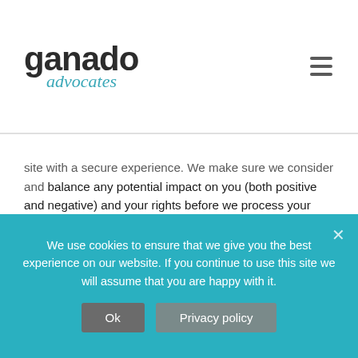[Figure (logo): Ganado Advocates logo with hamburger menu icon]
site with a secure experience. We make sure we consider and balance any potential impact on you (both positive and negative) and your rights before we process your personal data for our legitimate interests. We do not use your personal data for activities where our interests are overridden by the impact on you (unless we have your consent or are otherwise required or permitted to by law). You can obtain further information about how we assess our legitimate interests against any potential impact on you in respect of specific activities by contacting us at the following email address:
We use cookies to ensure that we give you the best experience on our website. If you continue to use this site we will assume that you are happy with it.